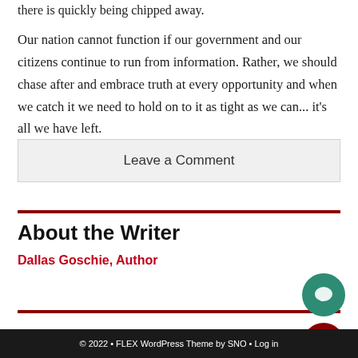there is quickly being chipped away.
Our nation cannot function if our government and our citizens continue to run from information. Rather, we should chase after and embrace truth at every opportunity and when we catch it we need to hold on to it as tight as we can... it's all we have left.
Leave a Comment
About the Writer
Dallas Goschie, Author
© 2022 • FLEX WordPress Theme by SNO • Log in